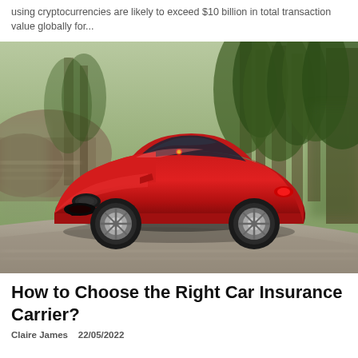using cryptocurrencies are likely to exceed $10 billion in total transaction value globally for...
[Figure (photo): A red Alfa Romeo sports car driving on a road with trees and rocky terrain in the background, captured with motion blur.]
How to Choose the Right Car Insurance Carrier?
Claire James   22/05/2022